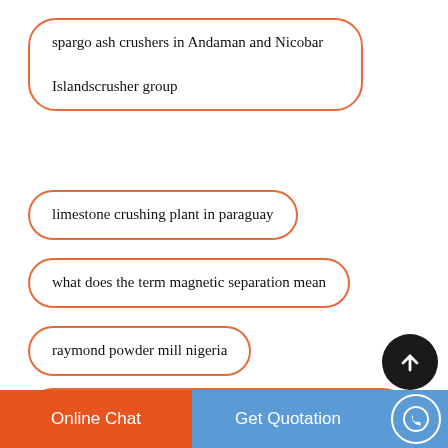spargo ash crushers in Andaman and Nicobar Islandscrusher group
limestone crushing plant in paraguay
what does the term magnetic separation mean
raymond powder mill nigeria
metal mining refining flow chart solution for ore
Online Chat  Get Quotation